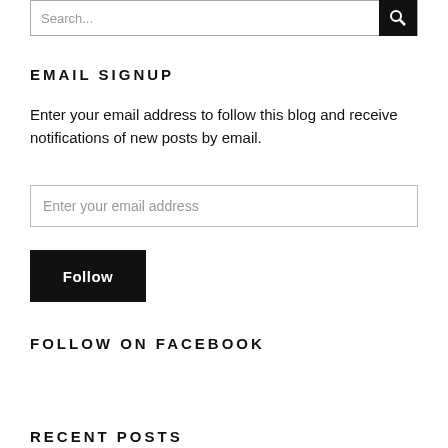Search...
EMAIL SIGNUP
Enter your email address to follow this blog and receive notifications of new posts by email.
Enter your email address
Follow
FOLLOW ON FACEBOOK
RECENT POSTS